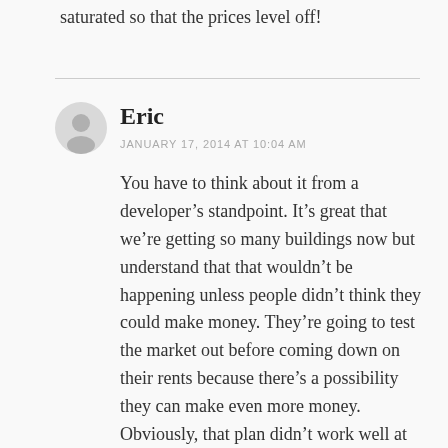saturated so that the prices level off!
[Figure (illustration): Gray user avatar circle icon]
Eric
JANUARY 17, 2014 AT 10:04 AM
You have to think about it from a developer’s standpoint. It’s great that we’re getting so many buildings now but understand that that wouldn’t be happening unless people didn’t think they could make money. They’re going to test the market out before coming down on their rents because there’s a possibility they can make even more money. Obviously, that plan didn’t work well at 927 West Morgan, which I